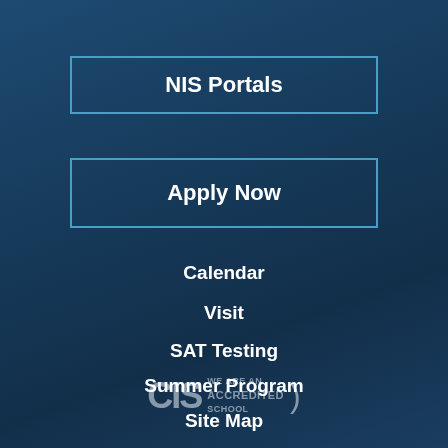NIS Portals
Apply Now
Calendar
Visit
SAT Testing
Summer Program
Site Map
[Figure (logo): CIS We Are An Accredited School badge]